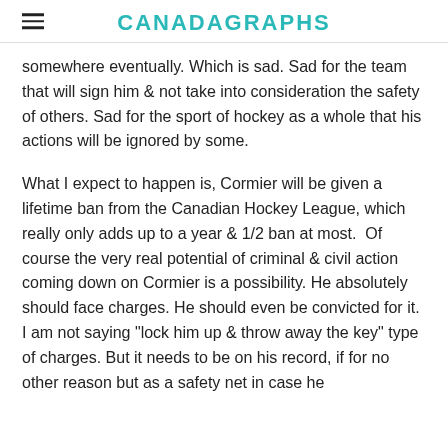CANADAGRAPHS
somewhere eventually. Which is sad. Sad for the team that will sign him & not take into consideration the safety of others. Sad for the sport of hockey as a whole that his actions will be ignored by some.
What I expect to happen is, Cormier will be given a lifetime ban from the Canadian Hockey League, which really only adds up to a year & 1/2 ban at most.  Of course the very real potential of criminal & civil action coming down on Cormier is a possibility. He absolutely should face charges. He should even be convicted for it. I am not saying "lock him up & throw away the key" type of charges. But it needs to be on his record, if for no other reason but as a safety net in case he